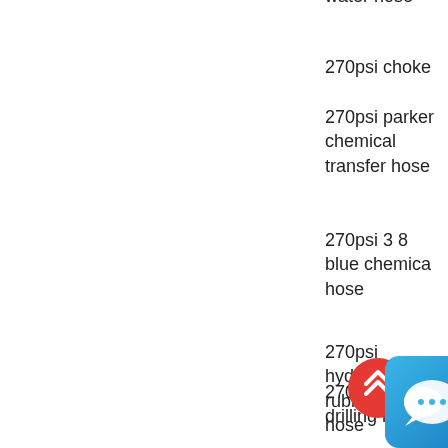industrial water hose
270psi choke
270psi parker chemical transfer hose
270psi 3 8 blue chemical hose
270psi hydraulic rubber spiral hose
270psi mud drilling hose
270psi water suction hose
270psi rubber hose
270psi sae100r5